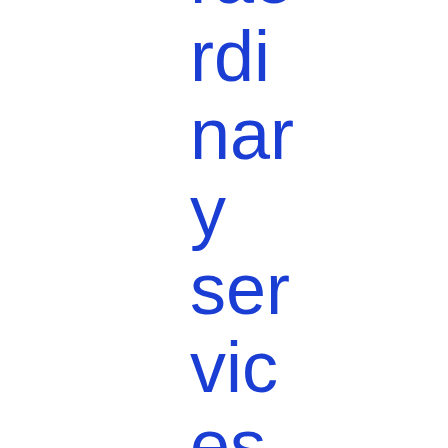raordinary services of Marathahalli Escorts